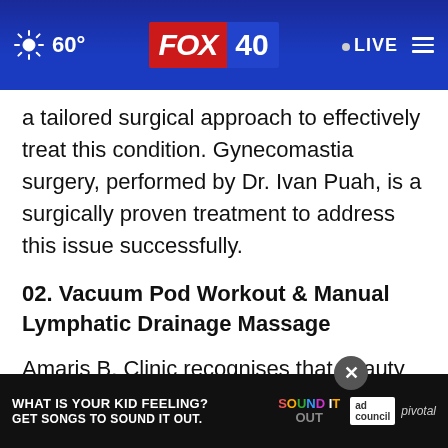60° FOX 40 LIVE
a tailored surgical approach to effectively treat this condition. Gynecomastia surgery, performed by Dr. Ivan Puah, is a surgically proven treatment to address this issue successfully.
02. Vacuum Pod Workout & Manual Lymphatic Drainage Massage
Amaris B. Clinic recognises that beauty goes beyond beyond surfaces Vacuum Pod Workout, which utilises vacuum
[Figure (screenshot): Ad banner overlay: 'WHAT IS YOUR KID FEELING? GET SONGS TO SOUND IT OUT.' with Sound It Out, Ad Council, and Pivotal logos]